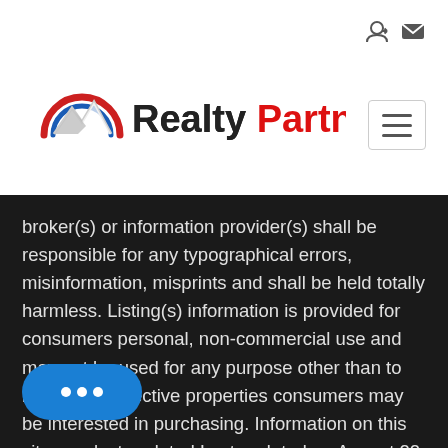[Figure (logo): RealtyPartners logo with stylized mountain/chevron icon in red, white, blue and the text 'Realty' in dark gray and 'Partners' in red, with registered trademark symbol]
broker(s) or information provider(s) shall be responsible for any typographical errors, misinformation, misprints and shall be held totally harmless. Listing(s) information is provided for consumers personal, non-commercial use and may not be used for any purpose other than to identify prospective properties consumers may be interested in purchasing. Information on this site was last updated Last updated on August 22, 2022 6:20 AM UTC The listing information on this page last changed on Last updated on August 22, 2022 6:20 AM UTCd. The data relating to real estate for sale on this website comes in part from the Internet Data Exchange program of MFR MLS. All information deemed reliable but not guaranteed. All properties are subject to prior sale, change or withdrawal. Neither listing broker(s) or information provider(s)